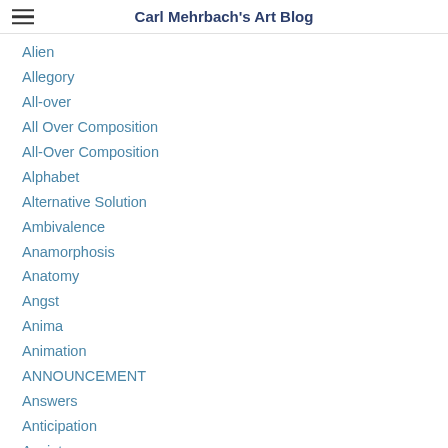Carl Mehrbach's Art Blog
Alien
Allegory
All-over
All Over Composition
All-Over Composition
Alphabet
Alternative Solution
Ambivalence
Anamorphosis
Anatomy
Angst
Anima
Animation
ANNOUNCEMENT
Answers
Anticipation
Anxiety
Apolitical